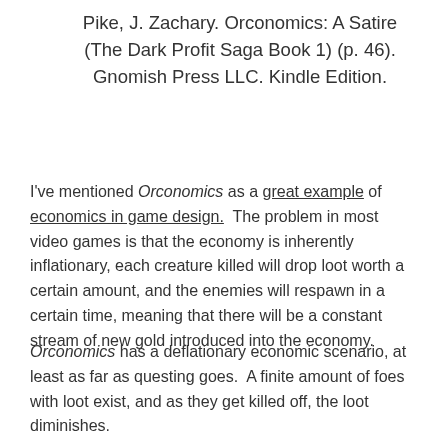Pike, J. Zachary. Orconomics: A Satire (The Dark Profit Saga Book 1) (p. 46). Gnomish Press LLC. Kindle Edition.
I've mentioned Orconomics as a great example of economics in game design.  The problem in most video games is that the economy is inherently inflationary, each creature killed will drop loot worth a certain amount, and the enemies will respawn in a certain time, meaning that there will be a constant stream of new gold introduced into the economy.
Orconomics has a deflationary economic scenario, at least as far as questing goes.  A finite amount of foes with loot exist, and as they get killed off, the loot diminishes.